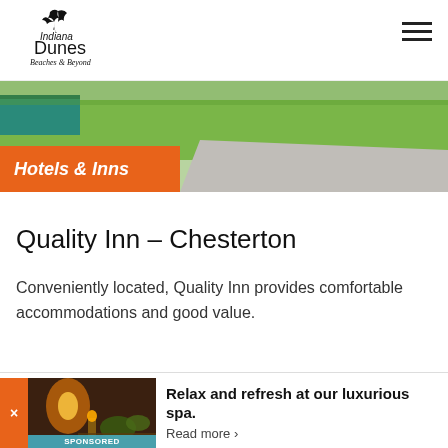Indiana Dunes – Beaches & Beyond
[Figure (photo): Hero photo of green lawn and road/driveway with Hotels & Inns orange overlay banner]
Quality Inn – Chesterton
Conveniently located, Quality Inn provides comfortable accommodations and good value.
[Figure (photo): Sponsored ad banner with spa/patio photo: Relax and refresh at our luxurious spa. Read more ›]